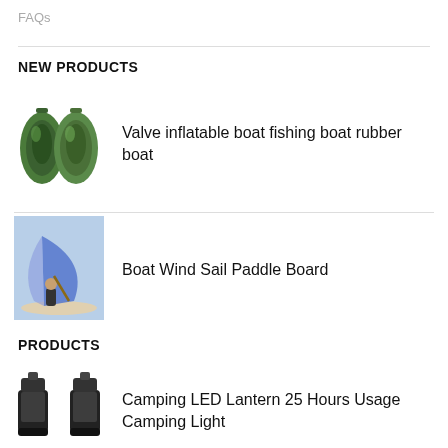FAQs
NEW PRODUCTS
[Figure (photo): Two green inflatable boats/rubber boats side by side]
Valve inflatable boat fishing boat rubber boat
[Figure (photo): Person on paddleboard with a large blue wind sail on water]
Boat Wind Sail Paddle Board
PRODUCTS
[Figure (photo): Two black LED camping lanterns side by side]
Camping LED Lantern 25 Hours Usage Camping Light